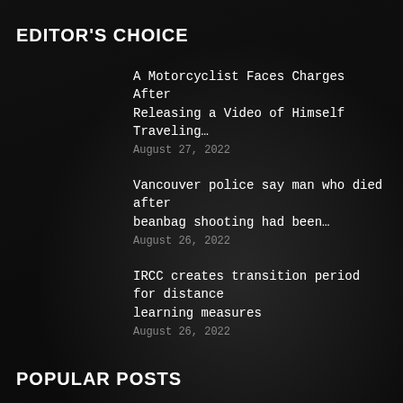EDITOR'S CHOICE
A Motorcyclist Faces Charges After Releasing a Video of Himself Traveling…
August 27, 2022
Vancouver police say man who died after beanbag shooting had been…
August 26, 2022
IRCC creates transition period for distance learning measures
August 26, 2022
POPULAR POSTS
A Motorcyclist Faces Charges After